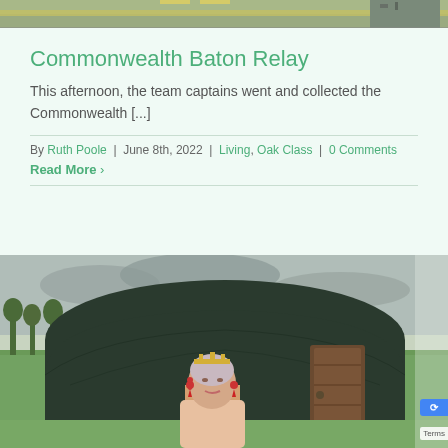[Figure (photo): Top portion of an outdoor photo showing a road or path with yellow markings, partial view cropped at top of page]
Commonwealth Baton Relay
This afternoon, the team captains went and collected the Commonwealth [...]
By Ruth Poole | June 8th, 2022 | Living, Oak Class | 0 Comments
Read More >
[Figure (photo): Photo of a yurt (dark green/black circular tent structure) outdoors on a green field, with a wooden door visible on the right side, and a cardboard cutout of Queen Elizabeth II in the foreground wearing crown jewels and drop earrings]